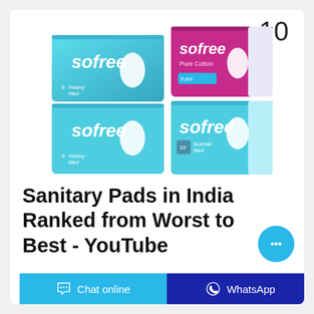[Figure (photo): Product photo showing four packages of Sofree sanitary pads — two teal/green boxes labeled 'sofree 8 pcs Heavy' stacked on the left, one pink/white package 'sofree Pure Cotton' on the upper right, and one teal package 'sofree 10 pcs Normal' on the lower right. Number 10 appears in the upper right corner.]
Sanitary Pads in India Ranked from Worst to Best - YouTube
Are Sanitary pads safe to use? Which Sanitary pad is
Chat online | WhatsApp